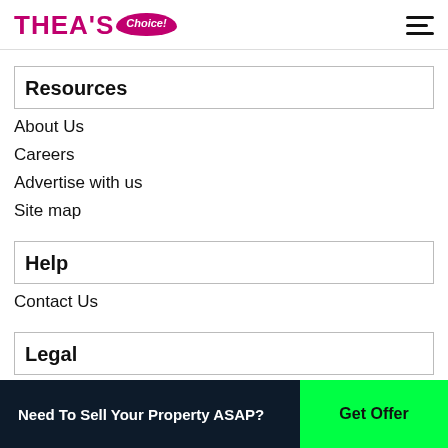THEA'S Choice!
Resources
About Us
Careers
Advertise with us
Site map
Help
Contact Us
Legal
Terms of Use
Need To Sell Your Property ASAP? Get Offer